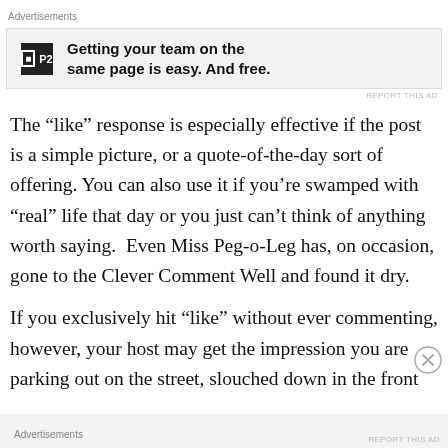Advertisements
[Figure (other): Advertisement banner for P2 with logo and bold text: Getting your team on the same page is easy. And free.]
The “like” response is especially effective if the post is a simple picture, or a quote-of-the-day sort of offering. You can also use it if you’re swamped with “real” life that day or you just can’t think of anything worth saying.  Even Miss Peg-o-Leg has, on occasion, gone to the Clever Comment Well and found it dry.
If you exclusively hit “like” without ever commenting, however, your host may get the impression you are parking out on the street, slouched down in the front
Advertisements